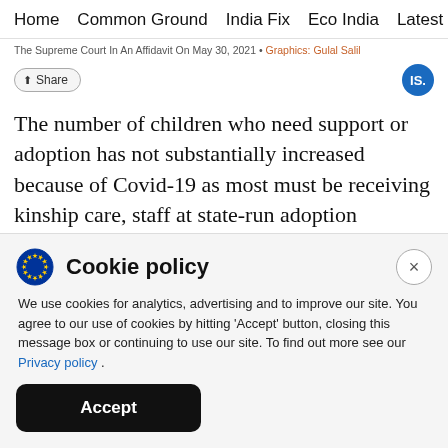Home   Common Ground   India Fix   Eco India   Latest   Th
The Supreme Court In An Affidavit On May 30, 2021 • Graphics: Gulal Salil
The number of children who need support or adoption has not substantially increased because of Covid-19 as most must be receiving kinship care, staff at state-run adoption agencies and shelter homes also told us. These children and the families
Cookie policy
We use cookies for analytics, advertising and to improve our site. You agree to our use of cookies by hitting 'Accept' button, closing this message box or continuing to use our site. To find out more see our Privacy policy .
Accept